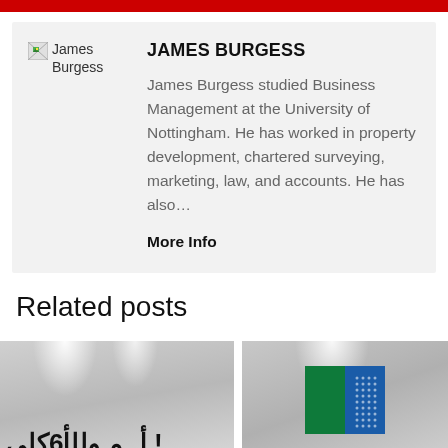[Figure (other): Red horizontal bar at top of page]
[Figure (photo): Broken image placeholder labeled 'James Burgess']
JAMES BURGESS
James Burgess studied Business Management at the University of Nottingham. He has worked in property development, chartered surveying, marketing, law, and accounts. He has also…
More Info
Related posts
[Figure (photo): Two related post thumbnail images side by side: left shows Arabic text signage, right shows Aramco logo on grey background]